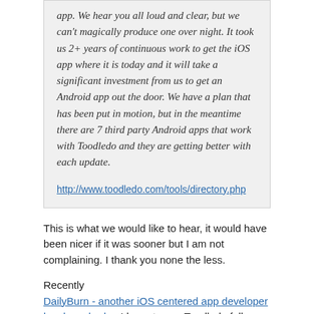app. We hear you all loud and clear, but we can't magically produce one over night. It took us 2+ years of continuous work to get the iOS app where it is today and it will take a significant investment from us to get an Android app out the door. We have a plan that has been put in motion, but in the meantime there are 7 third party Android apps that work with Toodledo and they are getting better with each update.
http://www.toodledo.com/tools/directory.php
This is what we would like to hear, it would have been nicer if it was sooner but I am not complaining. I thank you none the less.
Recently DailyBurn - another iOS centered app developer has launched a. I hope to see Toodledo follow suit in the near future.
I agree it takes a while to polish something, hence it is always beneficial to start sooner.